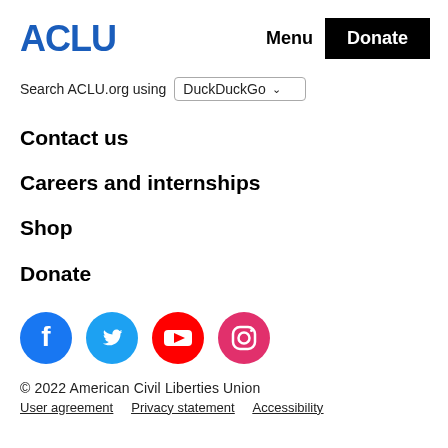ACLU   Menu   Donate
Search ACLU.org using DuckDuckGo
Contact us
Careers and internships
Shop
Donate
[Figure (other): Social media icons for Facebook, Twitter, YouTube, and Instagram]
© 2022 American Civil Liberties Union
User agreement   Privacy statement   Accessibility